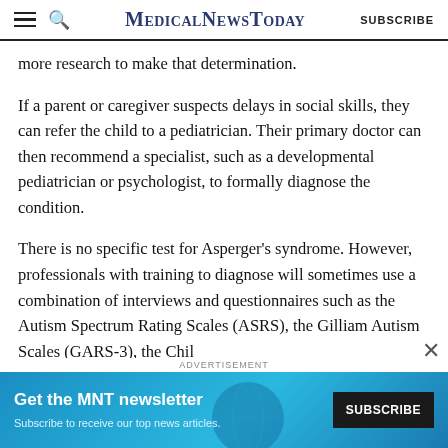MedicalNewsToday  SUBSCRIBE
more research to make that determination.
If a parent or caregiver suspects delays in social skills, they can refer the child to a pediatrician. Their primary doctor can then recommend a specialist, such as a developmental pediatrician or psychologist, to formally diagnose the condition.
There is no specific test for Asperger’s syndrome. However, professionals with training to diagnose will sometimes use a combination of interviews and questionnaires such as the Autism Spectrum Rating Scales (ASRS), the Gilliam Autism Scales (GARS-3), the Childhood Autism Rating Scale (CARS-2), and the
[Figure (screenshot): Advertisement banner for MNT newsletter with blue background. Text reads 'Get the MNT newsletter' and 'Subscribe to receive our top news articles.' with a SUBSCRIBE button.]